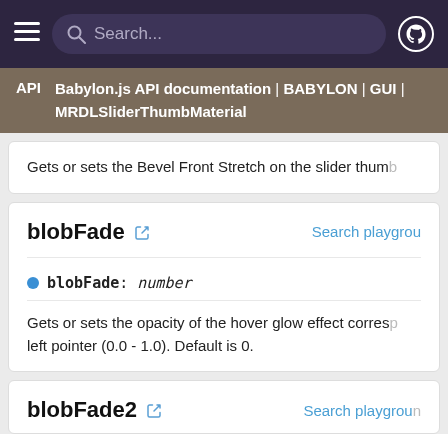Search...
API | Babylon.js API documentation | BABYLON | GUI | MRDLSliderThumbMaterial
Gets or sets the Bevel Front Stretch on the slider thumb
blobFade
blobFade: number
Gets or sets the opacity of the hover glow effect corresponding to the left pointer (0.0 - 1.0). Default is 0.
blobFade2